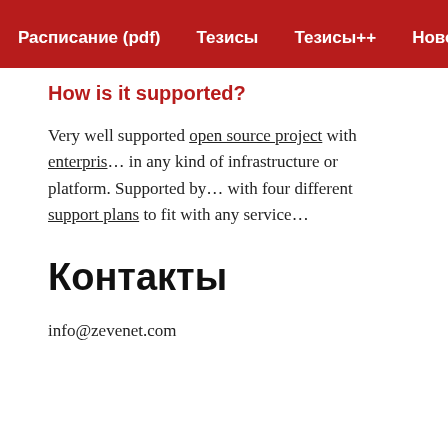Расписание (pdf)  Тезисы  Тезисы++  Новости  FAQ
How is it supported?
Very well supported open source project with enterprise support that can be deployed in any kind of infrastructure or platform. Supported by a professional team with four different support plans to fit with any service level agreement.
Контакты
info@zevenet.com